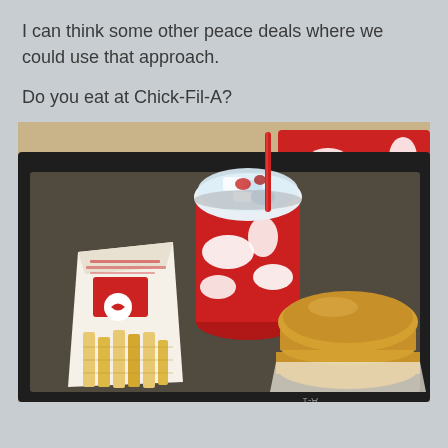I can think some other peace deals where we could use that approach.
Do you eat at Chick-Fil-A?
[Figure (photo): Photo of a Chick-fil-A meal on a tray: a large cup with red and white design with a red straw and icy drink, a bag of waffle fries with Chick-fil-A logo, and a chicken sandwich in wrapper, all on a dark tray with red Chick-fil-A branded box in background.]